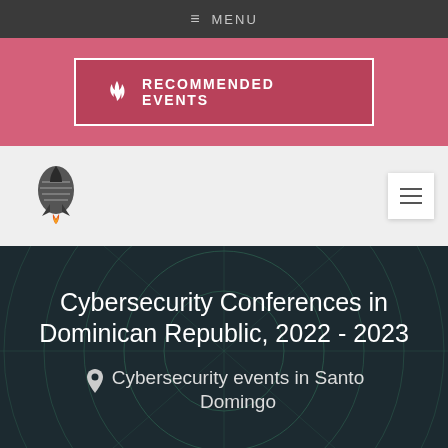MENU
[Figure (infographic): Pink banner with 'RECOMMENDED EVENTS' button featuring a flame icon, white border on dark pink background]
[Figure (logo): Rocket/microphone logo icon with orange flame, site navigation logo bar with hamburger menu button]
Cybersecurity Conferences in Dominican Republic, 2022 - 2023
Cybersecurity events in Santo Domingo